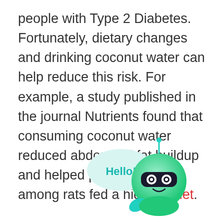people with Type 2 Diabetes. Fortunately, dietary changes and drinking coconut water can help reduce this risk. For example, a study published in the journal Nutrients found that consuming coconut water reduced abdominal fat buildup and helped prevent obesity among rats fed a high-fat diet.
[Figure (illustration): A cute cartoon robot with a green gradient round body, black visor with two circular eyes, a small antenna on top, and a speech bubble on the left saying 'Hello!' in teal bold text.]